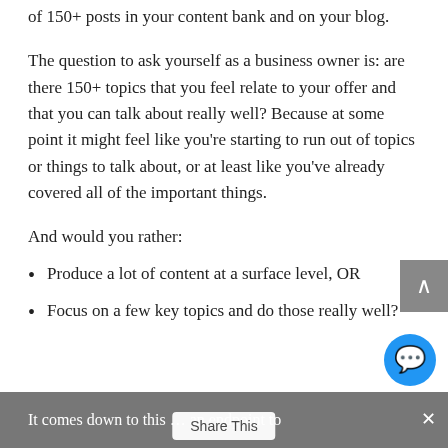of 150+ posts in your content bank and on your blog.
The question to ask yourself as a business owner is: are there 150+ topics that you feel relate to your offer and that you can talk about really well? Because at some point it might feel like you're starting to run out of topics or things to talk about, or at least like you've already covered all of the important things.
And would you rather:
Produce a lot of content at a surface level, OR
Focus on a few key topics and do those really well?
It comes down to this … an endpoint to